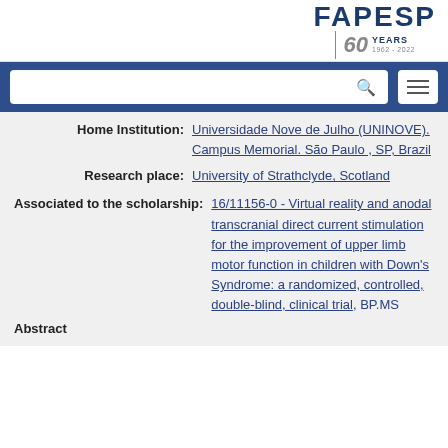[Figure (logo): FAPESP 60 YEARS 1962-2022 logo in blue and grey]
[Figure (screenshot): Navigation bar with search box and hamburger menu on blue background]
Home Institution: Universidade Nove de Julho (UNINOVE). Campus Memorial. São Paulo, SP, Brazil
Research place: University of Strathclyde, Scotland
Associated to the scholarship: 16/11156-0 - Virtual reality and anodal transcranial direct current stimulation for the improvement of upper limb motor function in children with Down's Syndrome: a randomized, controlled, double-blind, clinical trial, BP.MS
Abstract